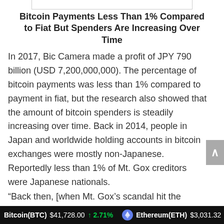Bitcoin Payments Less Than 1% Compared to Fiat But Spenders Are Increasing Over Time
In 2017, Bic Camera made a profit of JPY 790 billion (USD 7,200,000,000). The percentage of bitcoin payments was less than 1% compared to payment in fiat, but the research also showed that the amount of bitcoin spenders is steadily increasing over time. Back in 2014, people in Japan and worldwide holding accounts in bitcoin exchanges were mostly non-Japanese. Reportedly less than 1% of Mt. Gox creditors were Japanese nationals.
“Back then, [when Mt. Gox’s scandal hit the
Bitcoin(BTC) $41,728.00 ↑ 2.71%    Ethereum(ETH) $3,031.32 ↑